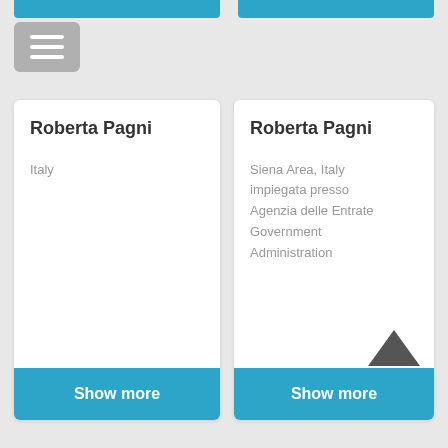[Figure (screenshot): Top blue bar left side]
[Figure (screenshot): Top blue bar right side]
[Figure (screenshot): Hamburger menu icon button (gray background, three white lines)]
Roberta Pagni
Italy
Roberta Pagni
Siena Area, Italy
impiegata presso
Agenzia delle Entrate
Government
Administration
Show more
Show more